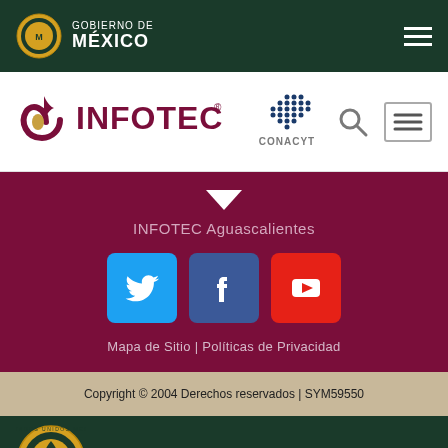GOBIERNO DE MÉXICO
[Figure (logo): INFOTEC logo with CONACYT logo, search icon, and hamburger menu]
INFOTEC Aguascalientes
[Figure (infographic): Social media buttons: Twitter, Facebook, YouTube]
Mapa de Sitio | Políticas de Privacidad
Copyright © 2004 Derechos reservados | SYM59550
[Figure (logo): Gobierno de México bottom logo with national seal]
GOBIERNO DE